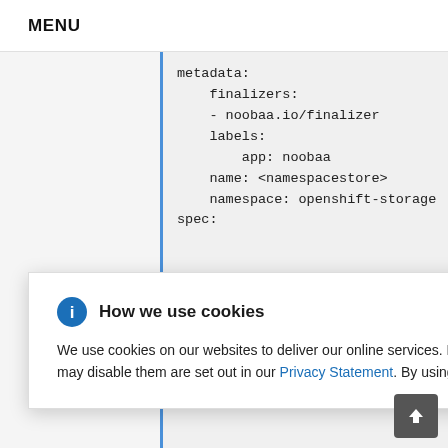MENU
metadata:
    finalizers:
    - noobaa.io/finalizer
    labels:
        app: noobaa
    name: <namespacestore>
    namespace: openshift-storage
spec:
How we use cookies
We use cookies on our websites to deliver our online services. Details about how we use cookies and how you may disable them are set out in our Privacy Statement. By using this website you agree to our use of cookies.